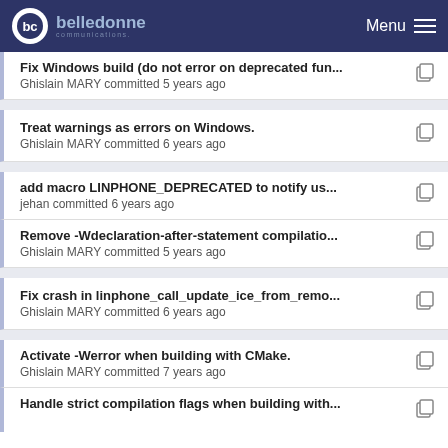belledonne communications — Menu
Fix Windows build (do not error on deprecated fun... — Ghislain MARY committed 5 years ago
Treat warnings as errors on Windows. — Ghislain MARY committed 6 years ago
add macro LINPHONE_DEPRECATED to notify us... — jehan committed 6 years ago
Remove -Wdeclaration-after-statement compilatio... — Ghislain MARY committed 5 years ago
Fix crash in linphone_call_update_ice_from_remo... — Ghislain MARY committed 6 years ago
Activate -Werror when building with CMake. — Ghislain MARY committed 7 years ago
Handle strict compilation flags when building with...